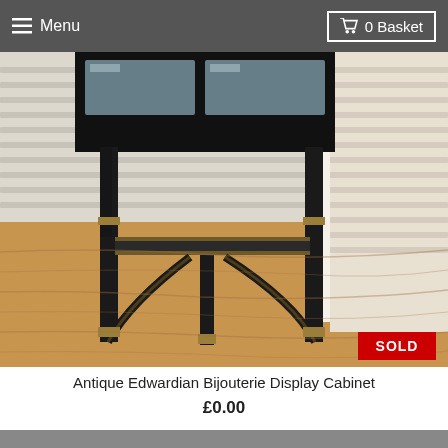Menu   0 Basket
[Figure (photo): Photo of an antique Edwardian ebonised bijouterie display cabinet with glass panels and gilt trim, showing the lower portion with slender tapered legs, a lower shelf, and curved stretcher rails, set against a white slatted backdrop on a wood-look floor. A red SOLD badge appears in the bottom right corner.]
Antique Edwardian Bijouterie Display Cabinet
£0.00